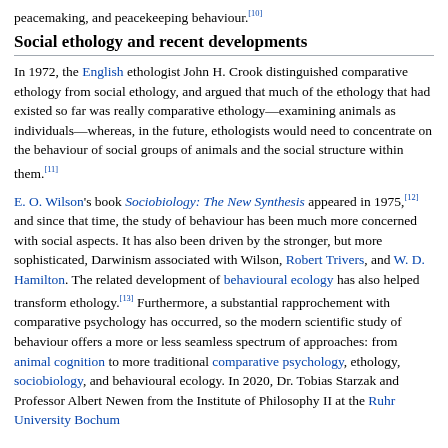peacemaking, and peacekeeping behaviour.[10]
Social ethology and recent developments
In 1972, the English ethologist John H. Crook distinguished comparative ethology from social ethology, and argued that much of the ethology that had existed so far was really comparative ethology—examining animals as individuals—whereas, in the future, ethologists would need to concentrate on the behaviour of social groups of animals and the social structure within them.[11]
E. O. Wilson's book Sociobiology: The New Synthesis appeared in 1975,[12] and since that time, the study of behaviour has been much more concerned with social aspects. It has also been driven by the stronger, but more sophisticated, Darwinism associated with Wilson, Robert Trivers, and W. D. Hamilton. The related development of behavioural ecology has also helped transform ethology.[13] Furthermore, a substantial rapprochement with comparative psychology has occurred, so the modern scientific study of behaviour offers a more or less seamless spectrum of approaches: from animal cognition to more traditional comparative psychology, ethology, sociobiology, and behavioural ecology. In 2020, Dr. Tobias Starzak and Professor Albert Newen from the Institute of Philosophy II at the Ruhr University Bochum